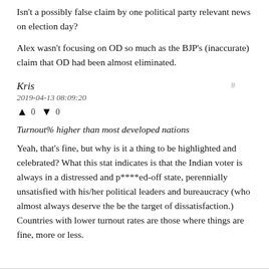Isn't a possibly false claim by one political party relevant news on election day?
Alex wasn't focusing on OD so much as the BJP's (inaccurate) claim that OD had been almost eliminated.
Kris
2019-04-13 08:09:20
▲ 0 ▼ 0
Turnout% higher than most developed nations
Yeah, that's fine, but why is it a thing to be highlighted and celebrated? What this stat indicates is that the Indian voter is always in a distressed and p****ed-off state, perennially unsatisfied with his/her political leaders and bureaucracy (who almost always deserve the be the target of dissatisfaction.) Countries with lower turnout rates are those where things are fine, more or less.